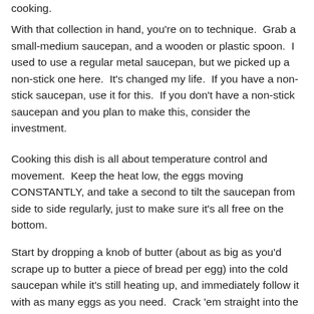cooking.
With that collection in hand, you're on to technique.  Grab a small-medium saucepan, and a wooden or plastic spoon.  I used to use a regular metal saucepan, but we picked up a non-stick one here.  It's changed my life.  If you have a non-stick saucepan, use it for this.  If you don't have a non-stick saucepan and you plan to make this, consider the investment.
Cooking this dish is all about temperature control and movement.  Keep the heat low, the eggs moving CONSTANTLY, and take a second to tilt the saucepan from side to side regularly, just to make sure it's all free on the bottom.
Start by dropping a knob of butter (about as big as you'd scrape up to butter a piece of bread per egg) into the cold saucepan while it's still heating up, and immediately follow it with as many eggs as you need.  Crack 'em straight into the pan – beating them over the gentle heat with a dull stirrer and some butter greasing the wheels is a bit kinder on the whites than beating them like mad before...